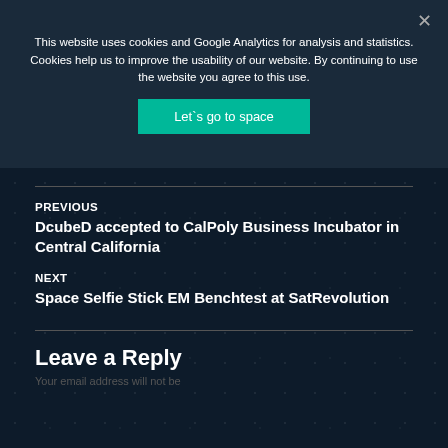This website uses cookies and Google Analytics for analysis and statistics. Cookies help us to improve the usability of our website. By continuing to use the website you agree to this use.
Let`s go to space
PREVIOUS
DcubeD accepted to CalPoly Business Incubator in Central California
NEXT
Space Selfie Stick EM Benchtest at SatRevolution
Leave a Reply
Your email address will not be